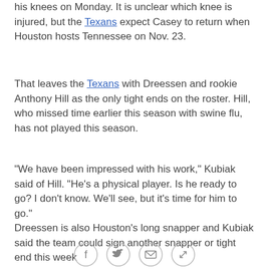his knees on Monday. It is unclear which knee is injured, but the Texans expect Casey to return when Houston hosts Tennessee on Nov. 23.
That leaves the Texans with Dreessen and rookie Anthony Hill as the only tight ends on the roster. Hill, who missed time earlier this season with swine flu, has not played this season.
"We have been impressed with his work," Kubiak said of Hill. "He's a physical player. Is he ready to go? I don't know. We'll see, but it's time for him to go."
Dreessen is also Houston's long snapper and Kubiak said the team could sign another snapper or tight end this week
[Figure (other): Social sharing icons: Facebook, Twitter, Email, Link]